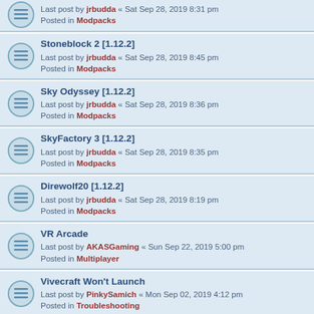Last post by jrbudda « Sat Sep 28, 2019 8:31 pm
Posted in Modpacks
Stoneblock 2 [1.12.2]
Last post by jrbudda « Sat Sep 28, 2019 8:45 pm
Posted in Modpacks
Sky Odyssey [1.12.2]
Last post by jrbudda « Sat Sep 28, 2019 8:36 pm
Posted in Modpacks
SkyFactory 3 [1.12.2]
Last post by jrbudda « Sat Sep 28, 2019 8:35 pm
Posted in Modpacks
Direwolf20 [1.12.2]
Last post by jrbudda « Sat Sep 28, 2019 8:19 pm
Posted in Modpacks
VR Arcade
Last post by AKASGaming « Sun Sep 22, 2019 5:00 pm
Posted in Multiplayer
Vivecraft Won't Launch
Last post by PinkySamich « Mon Sep 02, 2019 4:12 pm
Posted in Troubleshooting
WMR controllers don't track
Last post by pipli123 « Mon Sep 02, 2019 8:02 am
Posted in Troubleshooting
my size is incredibly small (1.14.4 latest)
Last post by Katomou « Sat Aug 31, 2019 1:28 am
Posted in Troubleshooting